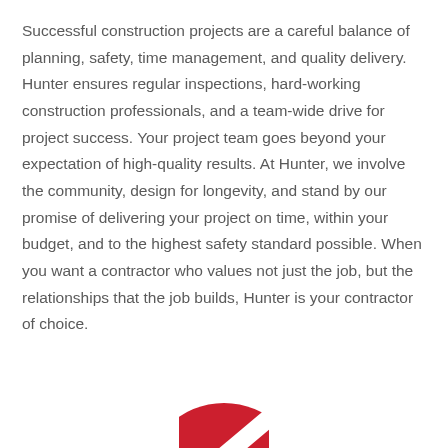Successful construction projects are a careful balance of planning, safety, time management, and quality delivery. Hunter ensures regular inspections, hard-working construction professionals, and a team-wide drive for project success. Your project team goes beyond your expectation of high-quality results. At Hunter, we involve the community, design for longevity, and stand by our promise of delivering your project on time, within your budget, and to the highest safety standard possible. When you want a contractor who values not just the job, but the relationships that the job builds, Hunter is your contractor of choice.
[Figure (logo): Partial red circular logo visible at bottom center of page]